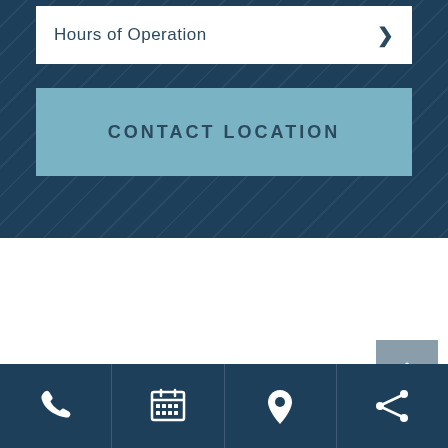Hours of Operation
CONTACT LOCATION
[Figure (logo): Stylized wave/automotive logo in light blue on white background]
Bottom navigation bar with phone, calendar, location, and share icons